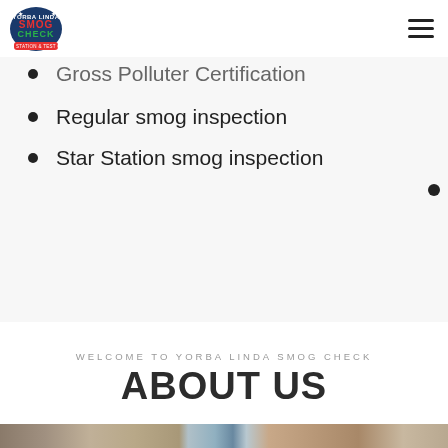Yorba Linda Smog Check
Gross Polluter Certification
Regular smog inspection
Star Station smog inspection
WELCOME TO YORBA LINDA SMOG CHECK
ABOUT US
[Figure (photo): Exterior photo of a building with palm trees and blue sky, showing rooftop and exterior walls.]